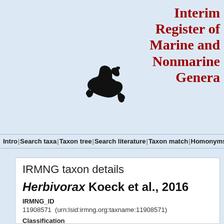Interim Register of Marine and Nonmarine Genera
[Figure (illustration): Black silhouette of an otter (IRMNG logo)]
Intro | Search taxa | Taxon tree | Search literature | Taxon match | Homonyms | Statistics | Webservice |
IRMNG taxon details
Herbivorax Koeck et al., 2016
IRMNG_ID
11908571  (urn:lsid:irmng.org:taxname:11908571)
Classification
Biota > Bacteria (Kingdom) > Firmicutes (Phylum) > Clostridia (Class) > Ruminococcaceae (Family) > Herbivorax (Genus)
Status
accepted